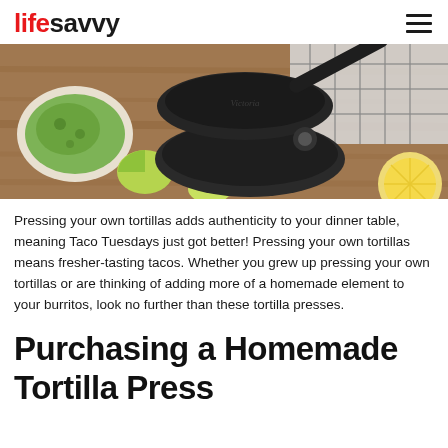lifesavvy
[Figure (photo): A cast iron tortilla press on a wooden cutting board, with a bowl of guacamole, lime wedges, and a plaid cloth in the background.]
Pressing your own tortillas adds authenticity to your dinner table, meaning Taco Tuesdays just got better! Pressing your own tortillas means fresher-tasting tacos. Whether you grew up pressing your own tortillas or are thinking of adding more of a homemade element to your burritos, look no further than these tortilla presses.
Purchasing a Homemade Tortilla Press